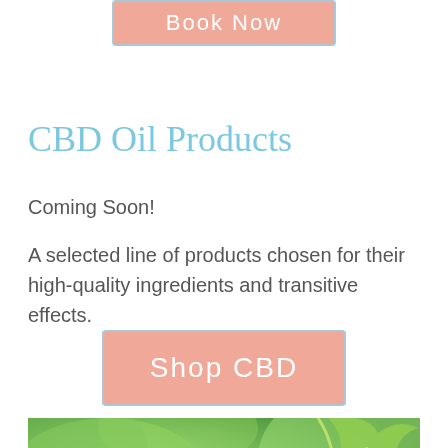[Figure (other): Partially visible pink button with text 'Book Now' and light blue border at the top of the page]
CBD Oil Products
Coming Soon!
A selected line of products chosen for their high-quality ingredients and transitive effects.
[Figure (other): Pink button with text 'Shop CBD' and light blue border]
[Figure (photo): Partial photo of green plant leaves with blurred background, visible only at the bottom of the page]